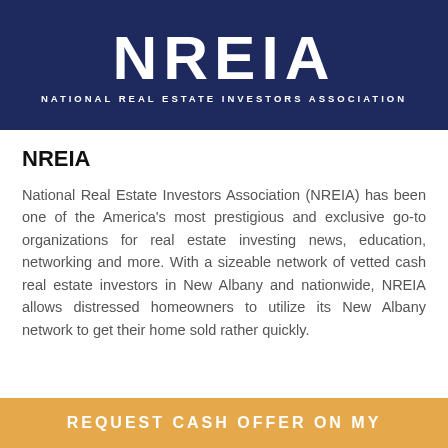[Figure (logo): NREIA logo — large white 'NREIA' text with subtitle 'NATIONAL REAL ESTATE INVESTORS ASSOCIATION' on a dark navy background]
NREIA
National Real Estate Investors Association (NREIA) has been one of the America's most prestigious and exclusive go-to organizations for real estate investing news, education, networking and more. With a sizeable network of vetted cash real estate investors in New Albany and nationwide, NREIA allows distressed homeowners to utilize its New Albany network to get their home sold rather quickly.
REQUEST CASH OFFER ON MY